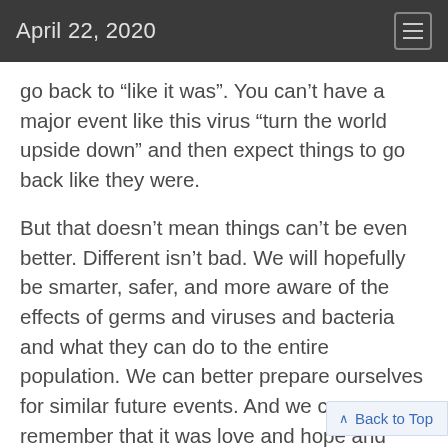April 22, 2020
go back to “like it was”. You can’t have a major event like this virus “turn the world upside down” and then expect things to go back like they were.
But that doesn’t mean things can’t be even better. Different isn’t bad. We will hopefully be smarter, safer, and more aware of the effects of germs and viruses and bacteria and what they can do to the entire population. We can better prepare ourselves for similar future events. And we can remember that it was love and hope and belief in a sovereign God and a new and better tomorrow that brought u through this “upside down” time for ...